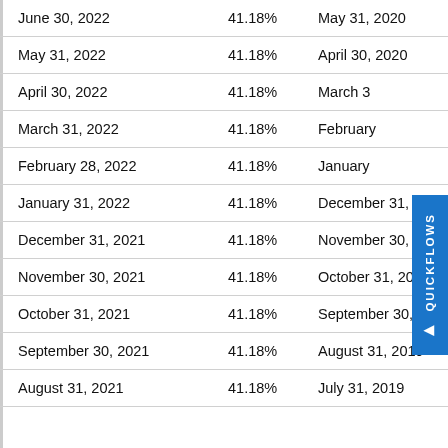| Date | Percentage | Date2 |
| --- | --- | --- |
| June 30, 2022 | 41.18% | May 31, 2020 |
| May 31, 2022 | 41.18% | April 30, 2020 |
| April 30, 2022 | 41.18% | March 3… |
| March 31, 2022 | 41.18% | February… |
| February 28, 2022 | 41.18% | January… |
| January 31, 2022 | 41.18% | December 31, 2… |
| December 31, 2021 | 41.18% | November 30, 2… |
| November 30, 2021 | 41.18% | October 31, 201… |
| October 31, 2021 | 41.18% | September 30,… |
| September 30, 2021 | 41.18% | August 31, 2019… |
| August 31, 2021 | 41.18% | July 31, 2019 |